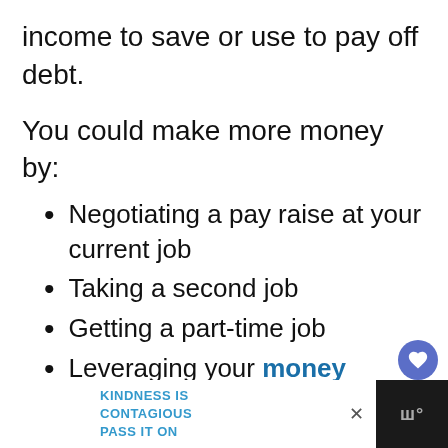income to save or use to pay off debt.
You could make more money by:
Negotiating a pay raise at your current job
Taking a second job
Getting a part-time job
Leveraging your money making skills to start a side
KINDNESS IS CONTAGIOUS PASS IT ON